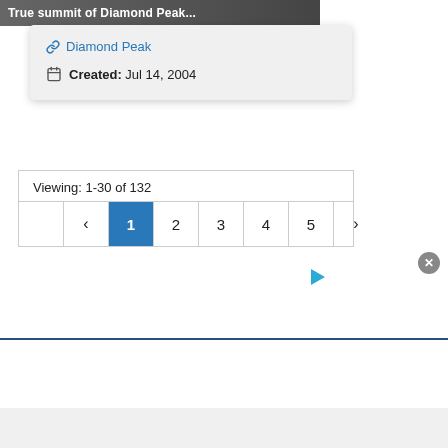[Figure (photo): Partial image strip showing mountain photo with text 'True summit of Diamond Peak...' overlaid in white bold text]
Diamond Peak
Created: Jul 14, 2004
Viewing: 1-30 of 132
Pagination: < 1 2 3 4 5 >
[Figure (other): Small cyan play/forward triangle icon]
[Figure (other): Advertisement bar with close button (X)]